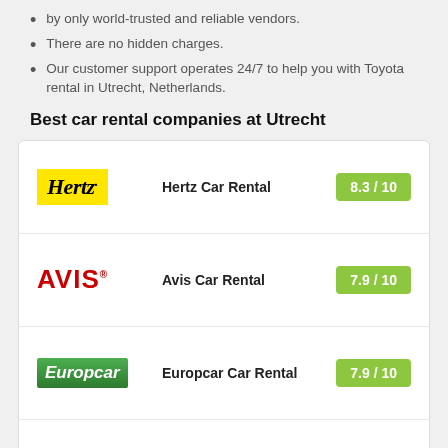by only world-trusted and reliable vendors.
There are no hidden charges.
Our customer support operates 24/7 to help you with Toyota rental in Utrecht, Netherlands.
Best car rental companies at Utrecht
| Logo | Company | Score |
| --- | --- | --- |
| Hertz | Hertz Car Rental | 8.3 / 10 |
| Avis | Avis Car Rental | 7.9 / 10 |
| Europcar | Europcar Car Rental | 7.9 / 10 |
| Sixt | Sixt Car Rental | 7.9 / 10 |